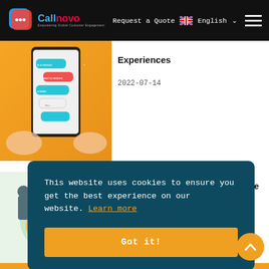Callnovo — Empowering Global Customer Engagement | Request a Quote  English
[Figure (screenshot): Chat/messaging app screenshot showing speech bubbles on mobile phone, in teal and orange colors]
Experiences
2022-07-14
[Figure (illustration): Colorful illustration related to customer service outsourcing]
How an Effective Customer Service Outsourcing Solution
This website uses cookies to ensure you get the best experience on our website. Learn more
Got it!